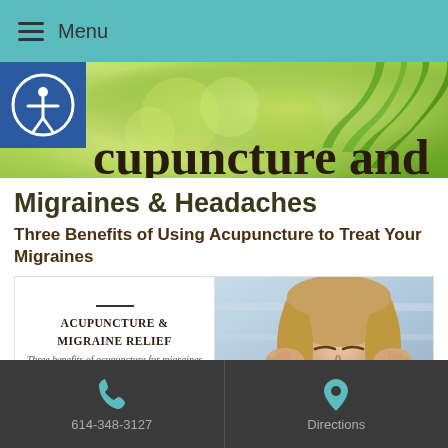Menu
[Figure (photo): Hero banner with green bokeh background and bamboo leaves, overlaid with partial text 'cupuncture and', with blue accessibility icon on the left]
Migraines & Headaches
Three Benefits of Using Acupuncture to Treat Your Migraines
[Figure (photo): Article feature image split into two parts: left side shows Acupuncture & Migraine Relief logo with text 'Three benefits of acupuncture for migraines'; right side shows woman holding her temples with migraine pain]
614-348-3127   Directions